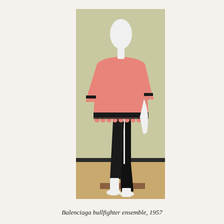[Figure (photo): A white mannequin dressed in a Balenciaga bullfighter ensemble from 1957, consisting of a short-sleeved salmon/coral pink top with a decorative black and pink pom-pom trim at the hem and sleeve edges, paired with slim black trousers with a white stripe down the side. The mannequin stands in a walking pose on a brown platform, photographed against a pale green/tan wall background in what appears to be a museum or archive setting.]
Balenciaga bullfighter ensemble, 1957